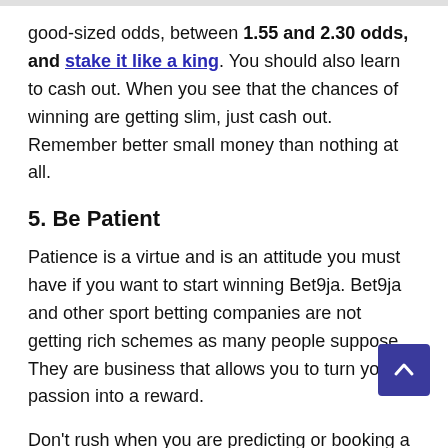good-sized odds, between 1.55 and 2.30 odds, and stake it like a king. You should also learn to cash out. When you see that the chances of winning are getting slim, just cash out. Remember better small money than nothing at all.
5. Be Patient
Patience is a virtue and is an attitude you must have if you want to start winning Bet9ja. Bet9ja and other sport betting companies are not getting rich schemes as many people suppose. They are business that allows you to turn your passion into a reward.
Don't rush when you are predicting or booking a game. Many people have been misled because of their impatience and fallacious belief that sports betting another quick way to get rich in Nigeria. Believe me,